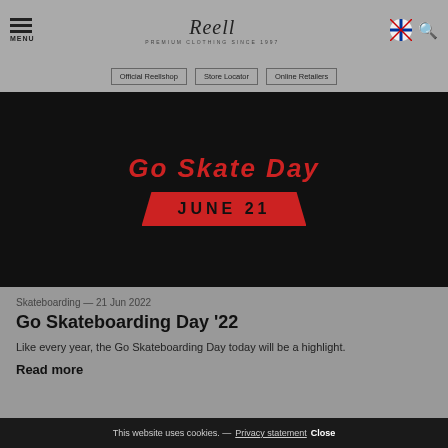MENU | Reell Premium Clothing Since 1997 | [flag] [search]
Official Reellshop | Store Locator | Online Retailers
[Figure (illustration): Black background event poster with red stylized text at top and a red trapezoid banner reading JUNE 21]
Skateboarding — 21 Jun 2022
Go Skateboarding Day '22
Like every year, the Go Skateboarding Day today will be a highlight.
Read more
This website uses cookies. — Privacy statement Close